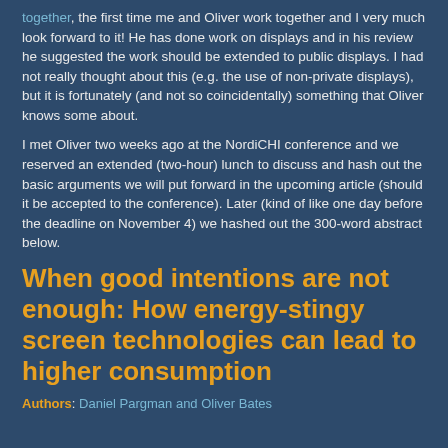together, the first time me and Oliver work together and I very much look forward to it! He has done work on displays and in his review he suggested the work should be extended to public displays. I had not really thought about this (e.g. the use of non-private displays), but it is fortunately (and not so coincidentally) something that Oliver knows some about.
I met Oliver two weeks ago at the NordiCHI conference and we reserved an extended (two-hour) lunch to discuss and hash out the basic arguments we will put forward in the upcoming article (should it be accepted to the conference). Later (kind of like one day before the deadline on November 4) we hashed out the 300-word abstract below.
When good intentions are not enough: How energy-stingy screen technologies can lead to higher consumption
Authors: Daniel Pargman and Oliver Bates